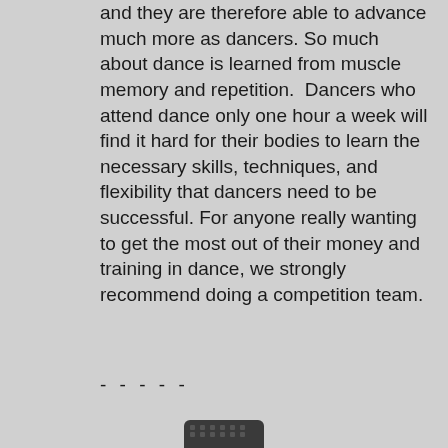and they are therefore able to advance much more as dancers. So much about dance is learned from muscle memory and repetition.  Dancers who attend dance only one hour a week will find it hard for their bodies to learn the necessary skills, techniques, and flexibility that dancers need to be successful. For anyone really wanting to get the most out of their money and training in dance, we strongly recommend doing a competition team.
- - - - -